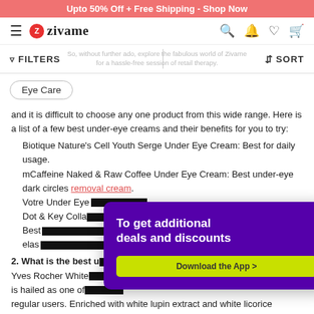Upto 50% Off + Free Shipping - Shop Now
[Figure (logo): Zivame logo with hamburger menu and nav icons (search, bell, heart, cart)]
FILTERS   So, without further ado, explore the fabulous world of Zivame for a hassle-free session of retail therapy.   SORT
Eye Care
and it is difficult to choose any one product from this wide range. Here is a list of a few best under-eye creams and their benefits for you to try:
Biotique Nature's Cell Youth Serge Under Eye Cream: Best for daily usage.
mCaffeine Naked & Raw Coffee Under Eye Cream: Best under-eye dark circles removal cream.
Votre Under Eye...
Dot & Key Colla... Best... elas...
2. What is the best u... Yves Rocher White... is hailed as one of... regular users. Enriched with white lupin extract and white licorice powder, this cream not only reduces dark circles but curbs wrinkles
[Figure (screenshot): Popup overlay: purple background with white bold text 'To get additional deals and discounts', yellow-green button 'Download the App >', and black close button (×) in top-right corner]